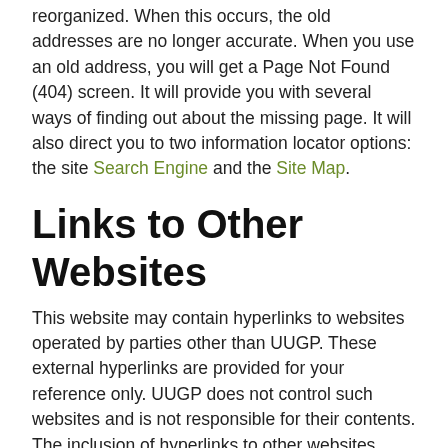reorganized. When this occurs, the old addresses are no longer accurate. When you use an old address, you will get a Page Not Found (404) screen. It will provide you with several ways of finding out about the missing page. It will also direct you to two information locator options: the site Search Engine and the Site Map.
Links to Other Websites
This website may contain hyperlinks to websites operated by parties other than UUGP. These external hyperlinks are provided for your reference only. UUGP does not control such websites and is not responsible for their contents. The inclusion of hyperlinks to other websites does not imply endorsement of the material on these websites or any association with their operators. Please let us know about existing external links which you believe are inappropriate and about specific additional external links which you believe ought to be included.